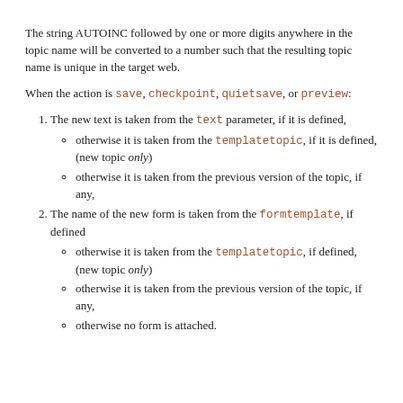The string AUTOINC followed by one or more digits anywhere in the topic name will be converted to a number such that the resulting topic name is unique in the target web.
When the action is save, checkpoint, quietsave, or preview:
1. The new text is taken from the text parameter, if it is defined,
otherwise it is taken from the templatetopic, if it is defined, (new topic only)
otherwise it is taken from the previous version of the topic, if any,
2. The name of the new form is taken from the formtemplate, if defined
otherwise it is taken from the templatetopic, if defined, (new topic only)
otherwise it is taken from the previous version of the topic, if any,
otherwise no form is attached.